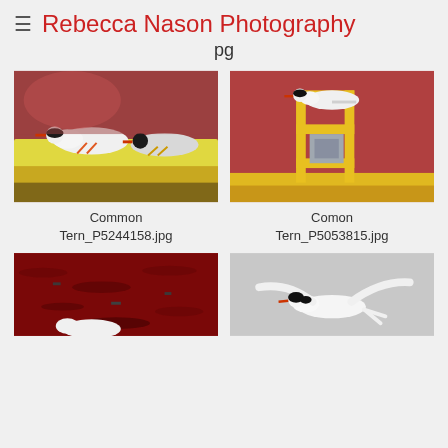≡ Rebecca Nason Photography
pg
[Figure (photo): Two common terns perched on a yellow railing against a red background]
Common Tern_P5244158.jpg
[Figure (photo): A common tern perched on a yellow metal structure against a red background]
Comon Tern_P5053815.jpg
[Figure (photo): Tern on red water surface]
[Figure (photo): Tern in flight against grey sky]